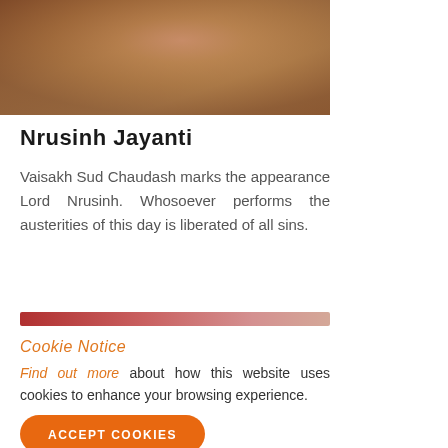[Figure (photo): A blurred gradient image with warm copper/brown tones fading from dark reddish-brown at top corners to golden tan at center bottom]
Nrusinh Jayanti
Vaisakh Sud Chaudash marks the appearance Lord Nrusinh. Whosoever performs the austerities of this day is liberated of all sins.
[Figure (illustration): A horizontal gradient bar fading from dark red/crimson on the left to light salmon/peach on the right]
Cookie Notice
Find out more about how this website uses cookies to enhance your browsing experience.
ACCEPT COOKIES